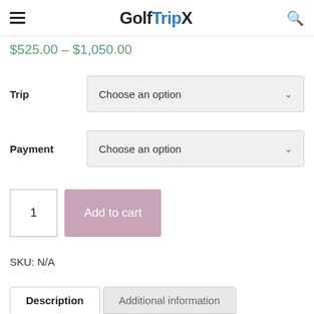GolfTripX
$525.00 – $1,050.00
Trip — Choose an option
Payment — Choose an option
1   Add to cart
SKU: N/A
Description   Additional information